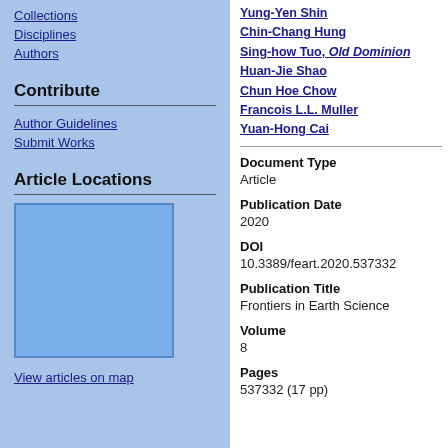Collections
Disciplines
Authors
Contribute
Author Guidelines
Submit Works
Article Locations
[Figure (map): Blue map placeholder showing article locations]
View articles on map
Yung-Yen Shin
Chin-Chang Hung
Sing-how Tuo, Old Dominion
Huan-Jie Shao
Chun Hoe Chow
Francois L.L. Muller
Yuan-Hong Cai
Document Type
Article
Publication Date
2020
DOI
10.3389/feart.2020.537332
Publication Title
Frontiers in Earth Science
Volume
8
Pages
537332 (17 pp)